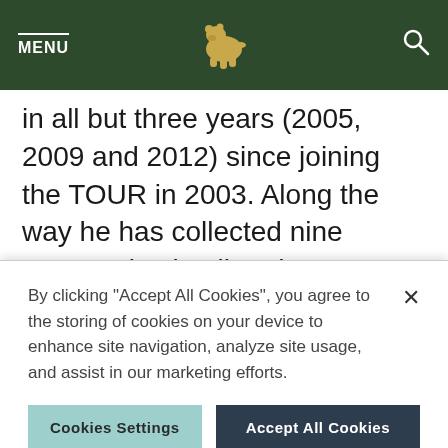MENU [bear logo] [search icon]
in all but three years (2005, 2009 and 2012) since joining the TOUR in 2003. Along the way he has collected nine TOUR wins in all and career earnings
By clicking "Accept All Cookies", you agree to the storing of cookies on your device to enhance site navigation, analyze site usage, and assist in our marketing efforts.
Cookies Settings
Accept All Cookies